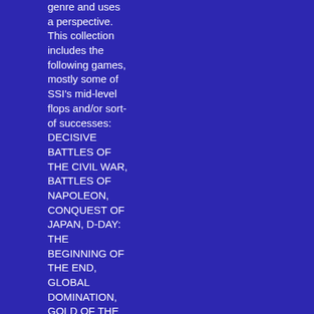genre and uses a perspective. This collection includes the following games, mostly some of SSI's mid-level flops and/or sort-of successes: DECISIVE BATTLES OF THE CIVIL WAR, BATTLES OF NAPOLEON, CONQUEST OF JAPAN, D-DAY: THE BEGINNING OF THE END, GLOBAL DOMINATION, GOLD OF THE AMERICAS, BATTLEFRONT, REACH FOR THE STARS, SWORD OF ARAGON TANKS!